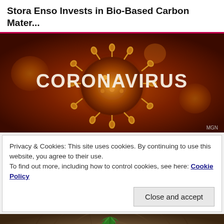Stora Enso Invests in Bio-Based Carbon Mater...
[Figure (photo): Coronavirus virus particle illustration with orange/red glowing background and large white CORONAVIRUS text overlay. MGN watermark in bottom right corner.]
Privacy & Cookies: This site uses cookies. By continuing to use this website, you agree to their use.
To find out more, including how to control cookies, see here: Cookie Policy
Close and accept
[Figure (photo): Close-up photo of a green leaf or plant on a rough wooden cross-section/log surface with visible tree rings.]